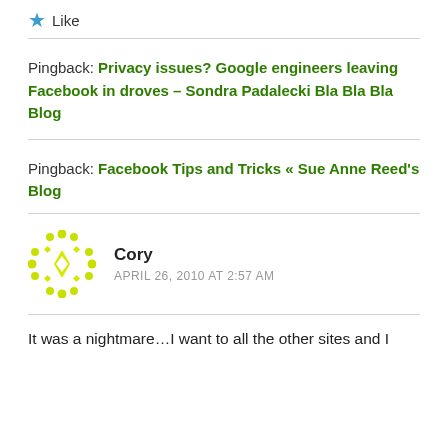Like
Pingback: Privacy issues? Google engineers leaving Facebook in droves – Sondra Padalecki Bla Bla Bla Blog
Pingback: Facebook Tips and Tricks « Sue Anne Reed's Blog
Cory
APRIL 26, 2010 AT 2:57 AM
It was a nightmare...I want to all the other sites and I